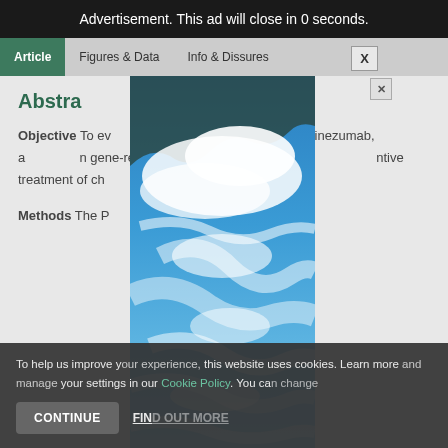Advertisement. This ad will close in 0 seconds.
Article | Figures & Data | Info & Disclosures
Abstract
Objective To evaluate the efficacy and safety of eptinezumab, a calcitonin gene-related peptide monoclonal antibody, for preventive treatment of chronic migraine.
Methods The PROMISE-2 trial ... Intravenous
[Figure (photo): Advertisement overlay showing a blue sky with white clouds photograph, positioned over the article content.]
To help us improve your experience, this website uses cookies. Learn more and manage your settings in our Cookie Policy. You ca...
CONTINUE | FIND OUT MORE